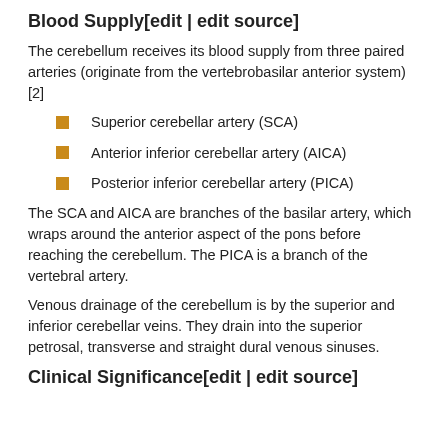Blood Supply[edit | edit source]
The cerebellum receives its blood supply from three paired arteries (originate from the vertebrobasilar anterior system) [2]
Superior cerebellar artery (SCA)
Anterior inferior cerebellar artery (AICA)
Posterior inferior cerebellar artery (PICA)
The SCA and AICA are branches of the basilar artery, which wraps around the anterior aspect of the pons before reaching the cerebellum. The PICA is a branch of the vertebral artery.
Venous drainage of the cerebellum is by the superior and inferior cerebellar veins. They drain into the superior petrosal, transverse and straight dural venous sinuses.
Clinical Significance[edit | edit source]